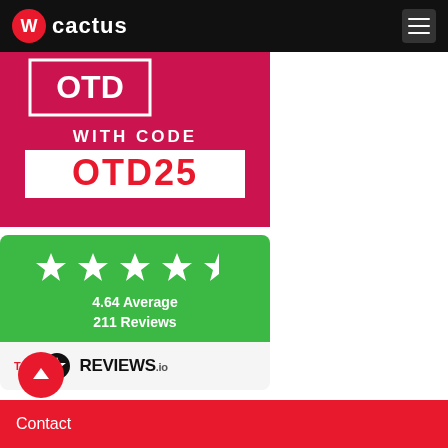cactus
[Figure (photo): Promo banner with 'WITH CODE OTD25' text on red/pink background showing hands on keyboard]
[Figure (infographic): Green rating card showing 4.64 Average, 211 Reviews with 4.5 stars, powered by REVIEWS.io]
4.64 Average
211 Reviews
Contact